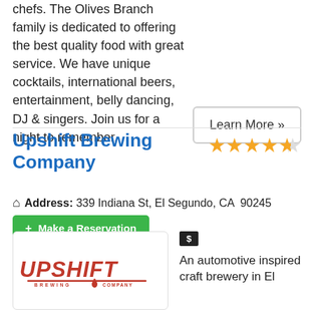chefs. The Olives Branch family is dedicated to offering the best quality food with great service. We have unique cocktails, international beers, entertainment, belly dancing, DJ & singers. Join us for a night to remember.
Learn More »
Upshift Brewing Company
Address: 339 Indiana St, El Segundo, CA  90245
+ Make a Reservation
[Figure (logo): Upshift Brewing Company logo in red block letters with automotive gear shift imagery]
$
An automotive inspired craft brewery in El